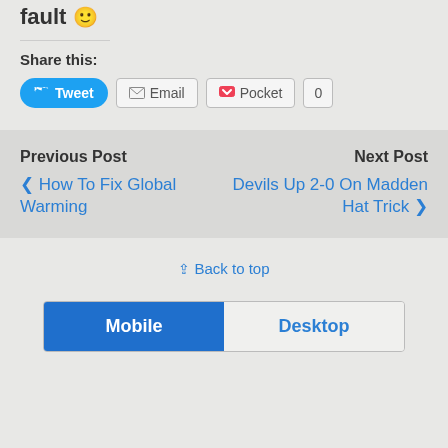fault 🙂
Share this:
[Figure (screenshot): Social share buttons: Tweet (blue pill button with Twitter bird icon), Email (grey border button with envelope icon), Pocket (grey border button with Pocket logo), 0 (count badge)]
Previous Post
< How To Fix Global Warming
Next Post
Devils Up 2-0 On Madden Hat Trick >
↑ Back to top
[Figure (screenshot): Mobile/Desktop toggle bar with Mobile selected (blue) and Desktop unselected (light grey)]